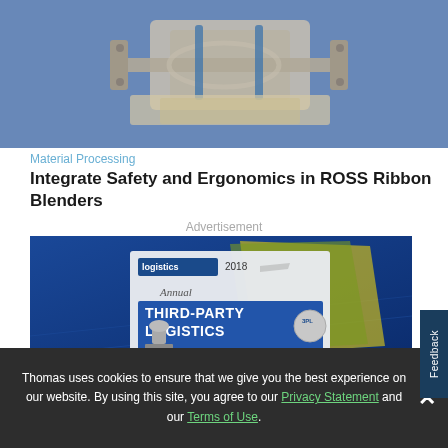[Figure (photo): Industrial ribbon blender equipment with metallic components against blue background]
Material Processing
Integrate Safety and Ergonomics in ROSS Ribbon Blenders
Advertisement
[Figure (photo): 2018 Annual Third-Party Logistics Edition magazine cover on blue background with trophy and badge icons]
Thomas uses cookies to ensure that we give you the best experience on our website. By using this site, you agree to our Privacy Statement and our Terms of Use.